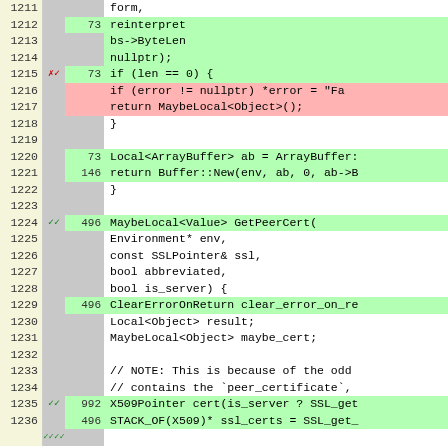[Figure (screenshot): Code coverage viewer showing C++ source code lines 1211-1236 with line numbers, hit counts, coverage markers, and color-coded background highlighting (green for covered, red for uncovered, white for neutral).]